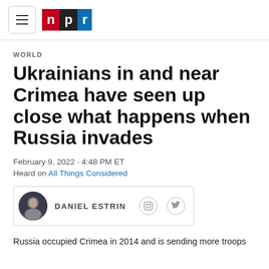NPR
WORLD
Ukrainians in and near Crimea have seen up close what happens when Russia invades
February 9, 2022 · 4:48 PM ET
Heard on All Things Considered
DANIEL ESTRIN
Russia occupied Crimea in 2014 and is sending more troops